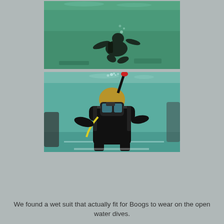[Figure (photo): Underwater photo showing a scuba diver in dark wetsuit swimming in green-tinted water, viewed from below/side angle]
[Figure (photo): Underwater photo of a young person (Boogs) in a black wetsuit with scuba gear, mask, and regulator with red mouthpiece, facing the camera in a pool with green-tinted water]
We found a wet suit that actually fit for Boogs to wear on the open water dives.